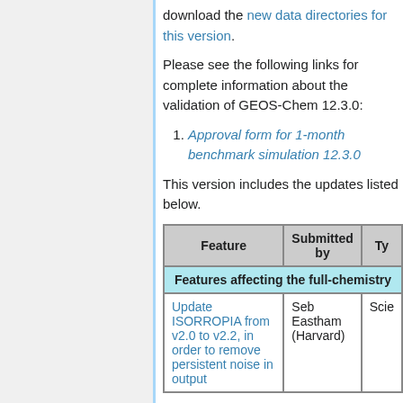download the new data directories for this version.
Please see the following links for complete information about the validation of GEOS-Chem 12.3.0:
1. Approval form for 1-month benchmark simulation 12.3.0
This version includes the updates listed below.
| Feature | Submitted by | Ty... |
| --- | --- | --- |
| Features affecting the full-chemistry... |
| Update ISORROPIA from v2.0 to v2.2, in order to remove persistent noise in output | Seb Eastham (Harvard) | Scie... |